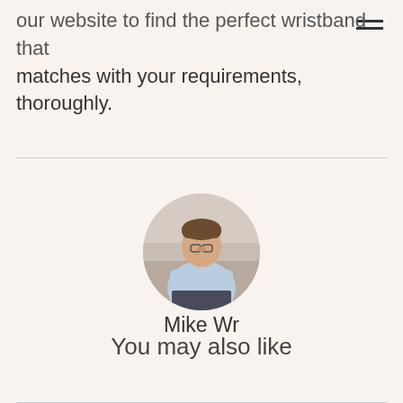our website to find the perfect wristband that matches with your requirements, thoroughly.
[Figure (photo): Circular profile photo of a man wearing glasses and a light blue shirt, looking downward, seated outdoors near a stone surface.]
Mike Wr
You may also like